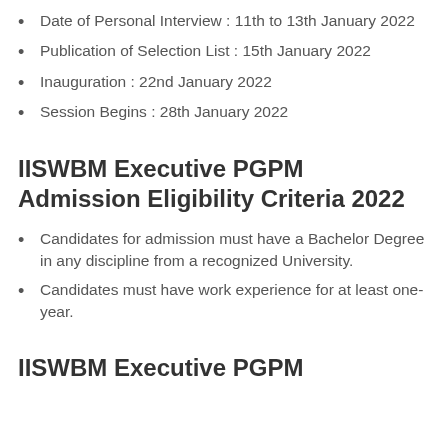Date of Personal Interview : 11th to 13th January 2022
Publication of Selection List : 15th January 2022
Inauguration : 22nd January 2022
Session Begins : 28th January 2022
IISWBM Executive PGPM Admission Eligibility Criteria 2022
Candidates for admission must have a Bachelor Degree in any discipline from a recognized University.
Candidates must have work experience for at least one-year.
IISWBM Executive PGPM